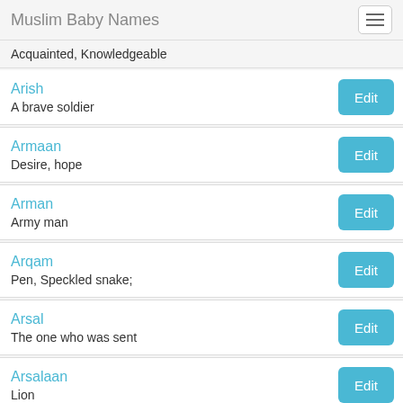Muslim Baby Names
Acquainted, Knowledgeable
Arish
A brave soldier
Armaan
Desire, hope
Arman
Army man
Arqam
Pen, Speckled snake;
Arsal
The one who was sent
Arsalaan
Lion
Arsh
Dominion, Crown